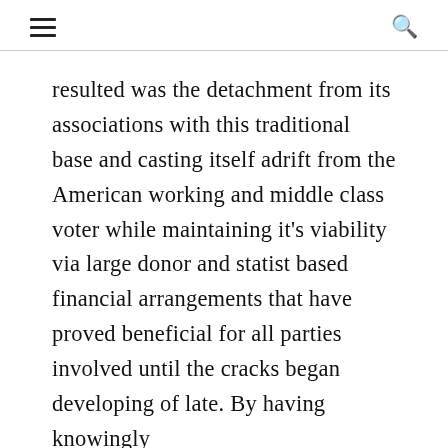≡  🔍
resulted was the detachment from its associations with this traditional base and casting itself adrift from the American working and middle class voter while maintaining it's viability via large donor and statist based financial arrangements that have proved beneficial for all parties involved until the cracks began developing of late. By having knowingly